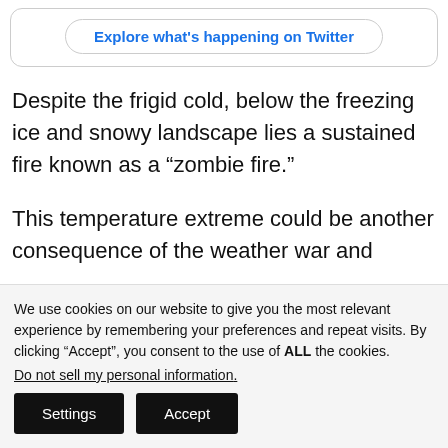[Figure (screenshot): Twitter 'Explore what's happening on Twitter' button in a rounded border box]
Despite the frigid cold, below the freezing ice and snowy landscape lies a sustained fire known as a “zombie fire.”
This temperature extreme could be another consequence of the weather war and
We use cookies on our website to give you the most relevant experience by remembering your preferences and repeat visits. By clicking “Accept”, you consent to the use of ALL the cookies.
Do not sell my personal information.
Settings   Accept